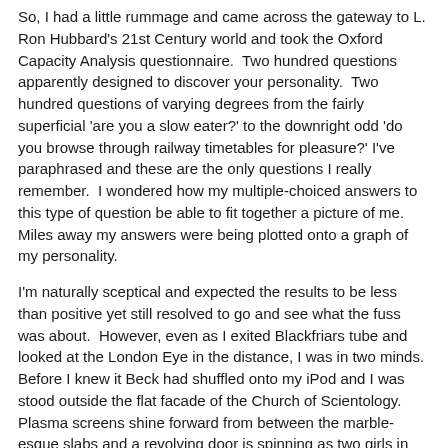So, I had a little rummage and came across the gateway to L. Ron Hubbard's 21st Century world and took the Oxford Capacity Analysis questionnaire.  Two hundred questions apparently designed to discover your personality.  Two hundred questions of varying degrees from the fairly superficial 'are you a slow eater?' to the downright odd 'do you browse through railway timetables for pleasure?' I've paraphrased and these are the only questions I really remember.  I wondered how my multiple-choiced answers to this type of question be able to fit together a picture of me.  Miles away my answers were being plotted onto a graph of my personality.
I'm naturally sceptical and expected the results to be less than positive yet still resolved to go and see what the fuss was about.  However, even as I exited Blackfriars tube and looked at the London Eye in the distance, I was in two minds.  Before I knew it Beck had shuffled onto my iPod and I was stood outside the flat facade of the Church of Scientology.  Plasma screens shine forward from between the marble-esque slabs and a revolving door is spinning as two girls in their mid-twenties enter.